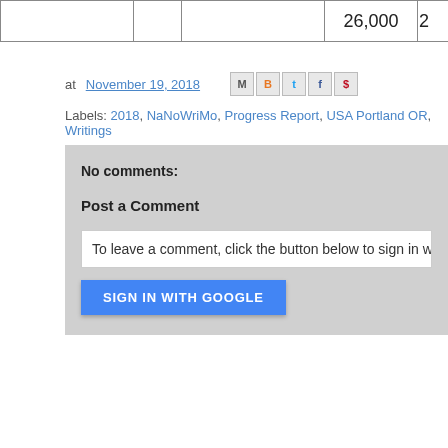|  |  |  | 26,000 | 2... |
at November 19, 2018
Labels: 2018, NaNoWriMo, Progress Report, USA Portland OR, Writings
No comments:
Post a Comment
To leave a comment, click the button below to sign in wit...
SIGN IN WITH GOOGLE